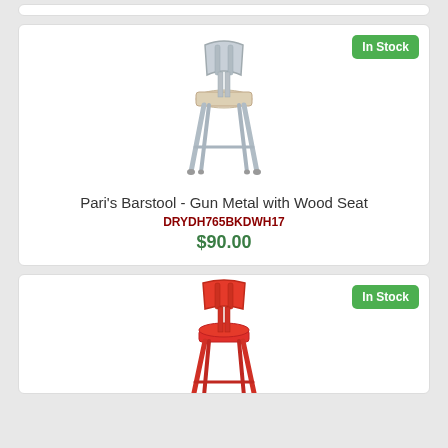[Figure (photo): Top of a product card (stub/partial, cropped)]
[Figure (photo): Silver/gun metal barstool with wood seat and backrest]
Pari's Barstool - Gun Metal with Wood Seat
DRYDH765BKDWH17
$90.00
[Figure (photo): Red metal barstool with backrest, partially visible (second product card)]